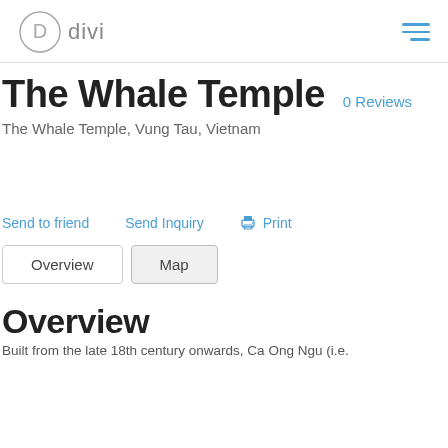Divi
The Whale Temple
0 Reviews
The Whale Temple, Vung Tau, Vietnam
Send to friend
Send Inquiry
Print
Overview
Map
Overview
Built from the late 18th century onwards, Ca Ong Ngu (i.e.